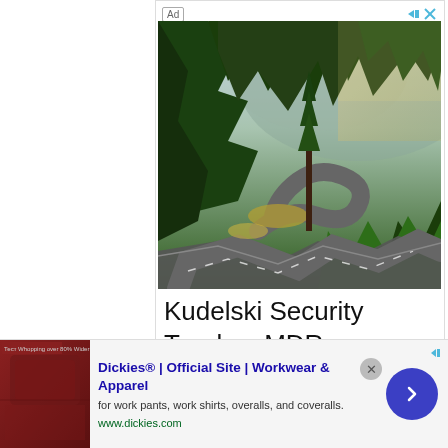[Figure (photo): Aerial view of a winding mountain road with hairpin turns through dense green pine forest, with misty mountains in background and golden sunlit meadows visible along the curves.]
Kudelski Security
Turnkey MDR
[Figure (photo): Thumbnail of a dark red/maroon leather interior, possibly a vehicle seat or sofa.]
Dickies® | Official Site | Workwear & Apparel
for work pants, work shirts, overalls, and coveralls.
www.dickies.com